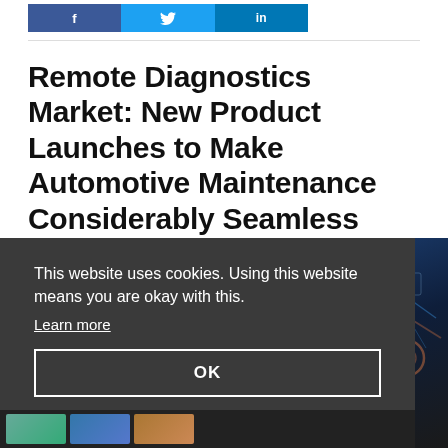f  [Twitter bird]  in
Remote Diagnostics Market: New Product Launches to Make Automotive Maintenance Considerably Seamless
This website uses cookies. Using this website means you are okay with this.
Learn more
OK
[Figure (photo): Photo of automotive/technology equipment on the right side of the page]
[Figure (photo): Thumbnail strip at the bottom showing small preview images]